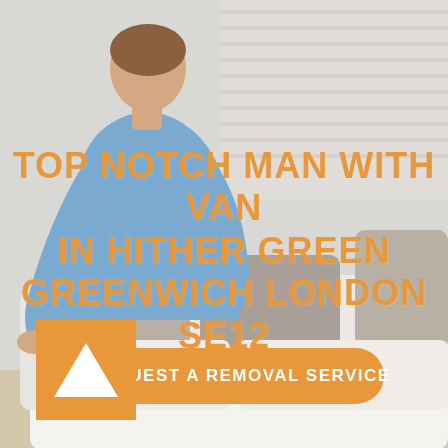[Figure (photo): A man in a light blue shirt leaning over a white sofa with cushions, in a bright room with blinds in the background.]
TOP NOTCH MAN WITH VAN IN HITHER GREEN GREENWICH LONDON SE12 8UG
REQUEST A REMOVAL SERVICE
[Figure (logo): Orange square with a white triangle (arrow up) logo mark.]